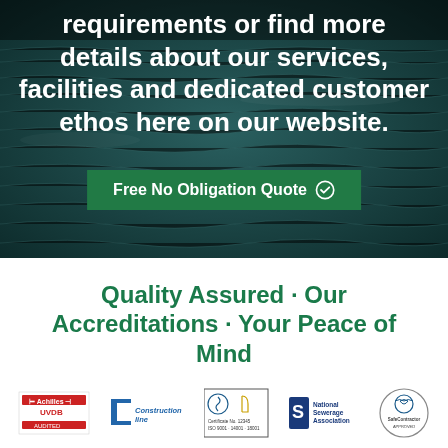requirements or find more details about our services, facilities and dedicated customer ethos here on our website.
Free No Obligation Quote ✓
Quality Assured · Our Accreditations · Your Peace of Mind
[Figure (logo): Achilles UVDB Approved logo]
[Figure (logo): Constructionline logo]
[Figure (logo): ISO 9001 / 14001 / 18001 certification badges]
[Figure (logo): National Sewerage Association logo]
[Figure (logo): SafeContractor Approved logo]